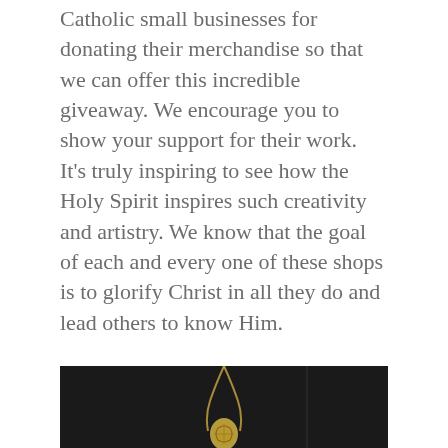Catholic small businesses for donating their merchandise so that we can offer this incredible giveaway. We encourage you to show your support for their work. It's truly inspiring to see how the Holy Spirit inspires such creativity and artistry. We know that the goal of each and every one of these shops is to glorify Christ in all they do and lead others to know Him.
Best Gifts For Catholic Women
God's Promise Necklace | Saint and Stone | Use code CATHLINK10 for 10% off
[Figure (photo): Dark background photo showing a gold necklace pendant, partially cropped at the bottom of the page]